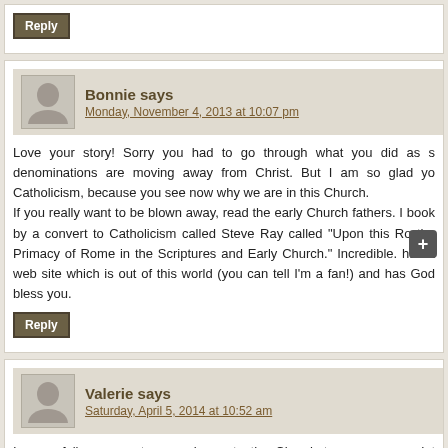Reply
Bonnie says
Monday, November 4, 2013 at 10:07 pm
Love your story! Sorry you had to go through what you did as denominations are moving away from Christ. But I am so glad you found Catholicism, because you see now why we are in this Church.
If you really want to be blown away, read the early Church fathers. I book by a convert to Catholicism called Steve Ray called "Upon this Ro the Primacy of Rome in the Scriptures and Early Church." Incredible. has a web site which is out of this world (you can tell I'm a fan!) and has God bless you.
Reply
Valerie says
Saturday, April 5, 2014 at 10:52 am
I am a fellow convert- came home to the Church two years ago. I t mainline Protestant denomination that also had many of the same iss